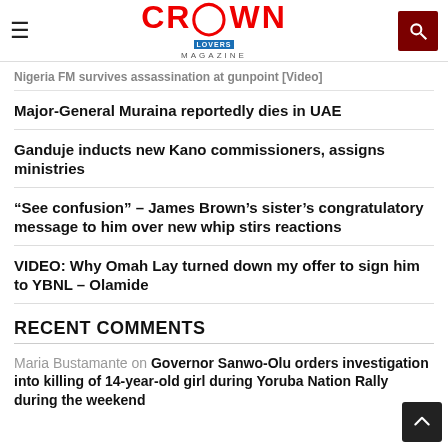Crown Lovers Magazine
Nigeria FM survives assassination at gunpoint [Video]
Major-General Muraina reportedly dies in UAE
Ganduje inducts new Kano commissioners, assigns ministries
“See confusion” – James Brown’s sister’s congratulatory message to him over new whip stirs reactions
VIDEO: Why Omah Lay turned down my offer to sign him to YBNL – Olamide
RECENT COMMENTS
Maria Bustamante on Governor Sanwo-Olu orders investigation into killing of 14-year-old girl during Yoruba Nation Rally during the weekend